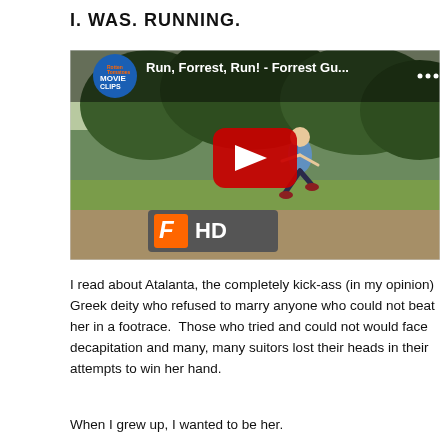I. WAS. RUNNING.
[Figure (screenshot): YouTube video thumbnail showing a boy running on a dirt path under trees. Title reads 'Run, Forrest, Run! - Forrest Gu...' with Rotten Tomatoes Movie Clips branding and a Fandango HD logo in the lower left. A red YouTube play button is centered on the image.]
I read about Atalanta, the completely kick-ass (in my opinion) Greek deity who refused to marry anyone who could not beat her in a footrace.  Those who tried and could not would face decapitation and many, many suitors lost their heads in their attempts to win her hand.
When I grew up, I wanted to be her.